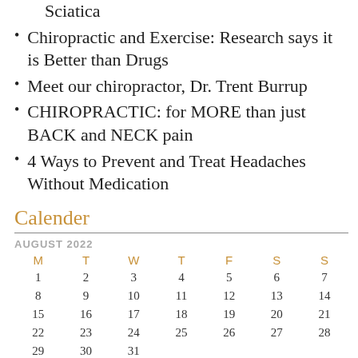Sciatica
Chiropractic and Exercise: Research says it is Better than Drugs
Meet our chiropractor, Dr. Trent Burrup
CHIROPRACTIC: for MORE than just BACK and NECK pain
4 Ways to Prevent and Treat Headaches Without Medication
Calender
| M | T | W | T | F | S | S |
| --- | --- | --- | --- | --- | --- | --- |
| 1 | 2 | 3 | 4 | 5 | 6 | 7 |
| 8 | 9 | 10 | 11 | 12 | 13 | 14 |
| 15 | 16 | 17 | 18 | 19 | 20 | 21 |
| 22 | 23 | 24 | 25 | 26 | 27 | 28 |
| 29 | 30 | 31 |  |  |  |  |
« Nov